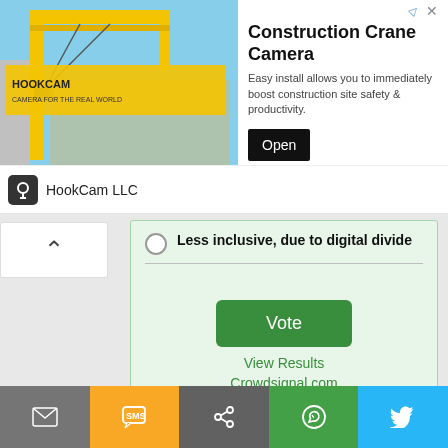[Figure (screenshot): Advertisement banner for HookCam LLC - Construction Crane Camera app. Shows a crane image on the left, title 'Construction Crane Camera', description text 'Easy install allows you to immediately boost construction site safety & productivity.', an 'Open' button, and HookCam LLC branding at the bottom.]
Construction Crane Camera
Easy install allows you to immediately boost construction site safety & productivity.
Open
HookCam LLC
Less inclusive, due to digital divide
Vote
View Results
Crowdsignal.com
Twitter
Tweets from @governancenow
Governance Now
@governancenow · 18h